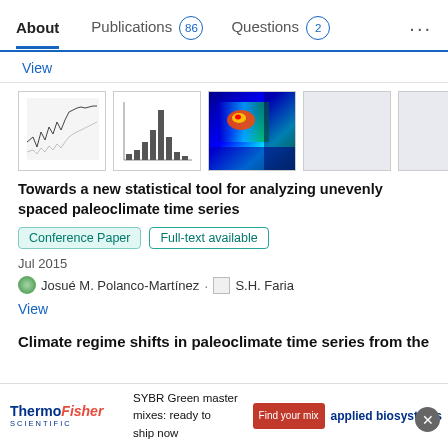About  Publications 86  Questions 2  ...
View
[Figure (screenshot): Three thumbnail images of scientific figures: a time series plot, a histogram, and a color heatmap. Two blank grey placeholder thumbnails follow.]
Towards a new statistical tool for analyzing unevenly spaced paleoclimate time series
Conference Paper  Full-text available
Jul 2015
Josué M. Polanco-Martínez · S.H. Faria
View
Climate regime shifts in paleoclimate time series from the